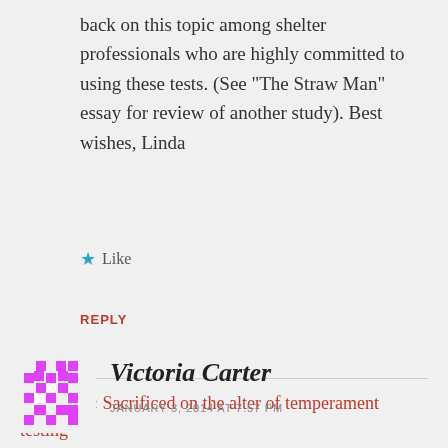back on this topic among shelter professionals who are highly committed to using these tests. (See “The Straw Man” essay for review of another study). Best wishes, Linda
★ Like
REPLY
Pingback: Sacrificed on the alter of temperament testing
[Figure (illustration): Pink/magenta pixelated avatar icon with diamond/checkerboard pattern]
Victoria Carter
JANUARY 3, 2014 AT 7:57 PM